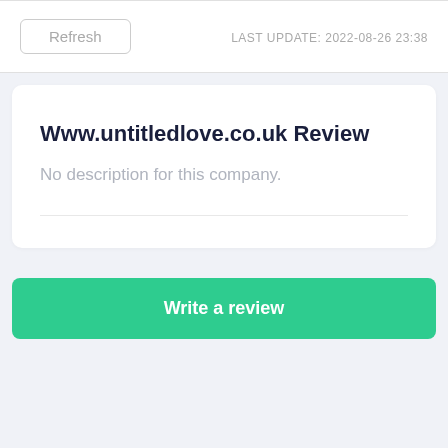Refresh
LAST UPDATE: 2022-08-26 23:38
Www.untitledlove.co.uk Review
No description for this company.
Write a review